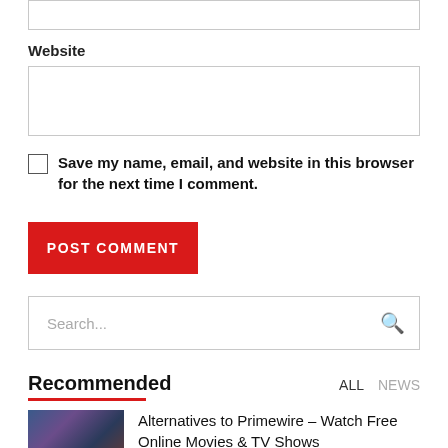Website
Save my name, email, and website in this browser for the next time I comment.
POST COMMENT
Search...
Recommended
ALL NEWS
Alternatives to Primewire – Watch Free Online Movies & TV Shows
JUNE 6, 2022